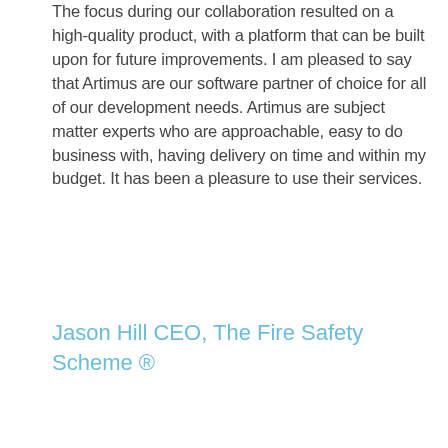The focus during our collaboration resulted on a high-quality product, with a platform that can be built upon for future improvements. I am pleased to say that Artimus are our software partner of choice for all of our development needs. Artimus are subject matter experts who are approachable, easy to do business with, having delivery on time and within my budget. It has been a pleasure to use their services.
Jason Hill CEO, The Fire Safety Scheme ®